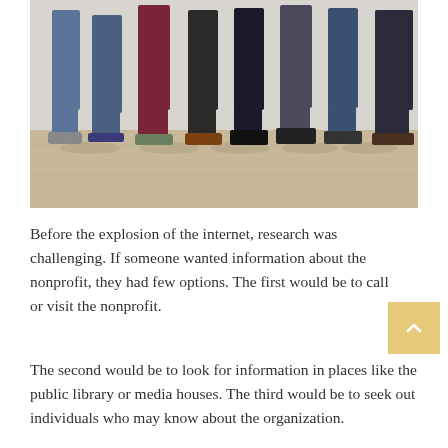[Figure (photo): Group of people standing together, showing only their lower bodies from waist down, wearing various pants and shoes, standing on a light wood floor against a light gray wall.]
Before the explosion of the internet, research was challenging. If someone wanted information about the nonprofit, they had few options. The first would be to call or visit the nonprofit.
The second would be to look for information in places like the public library or media houses. The third would be to seek out individuals who may know about the organization.